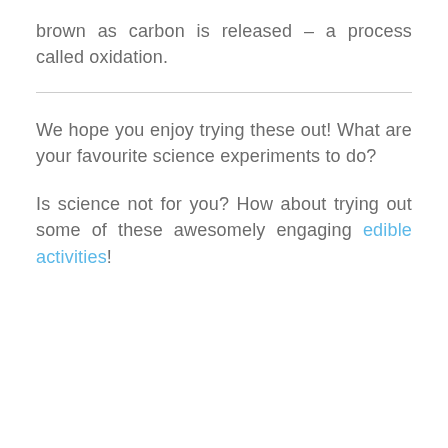brown as carbon is released – a process called oxidation.
We hope you enjoy trying these out! What are your favourite science experiments to do?
Is science not for you? How about trying out some of these awesomely engaging edible activities!